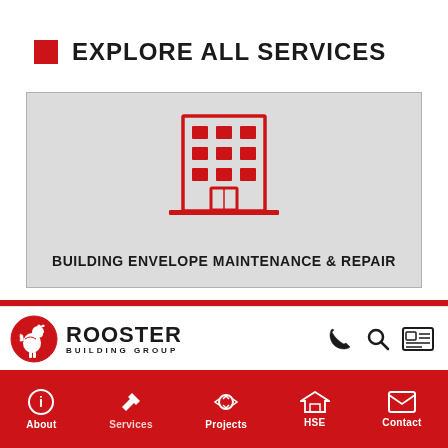EXPLORE ALL SERVICES
[Figure (illustration): Red line-art icon of a multi-story building with windows and a door, on a light grey card background. Below the icon: BUILDING ENVELOPE MAINTENANCE & REPAIR]
BUILDING ENVELOPE MAINTENANCE & REPAIR
[Figure (logo): Rooster Building Group logo: red circle with white rooster icon, black text ROOSTER BUILDING GROUP]
About | Services | Projects | HSE | Contact